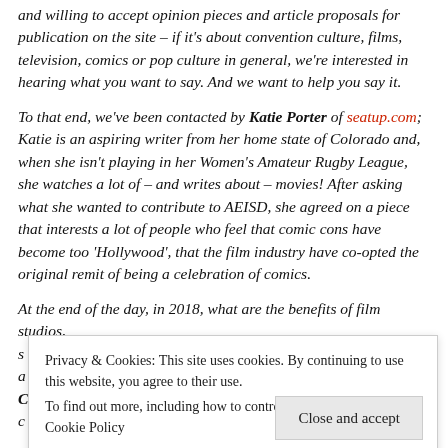and willing to accept opinion pieces and article proposals for publication on the site – if it's about convention culture, films, television, comics or pop culture in general, we're interested in hearing what you want to say. And we want to help you say it.
To that end, we've been contacted by Katie Porter of seatup.com; Katie is an aspiring writer from her home state of Colorado and, when she isn't playing in her Women's Amateur Rugby League, she watches a lot of – and writes about – movies! After asking what she wanted to contribute to AEISD, she agreed on a piece that interests a lot of people who feel that comic cons have become too 'Hollywood', that the film industry have co-opted the original remit of being a celebration of comics.
At the end of the day, in 2018, what are the benefits of film studios, s... a... decided not to come to SDCC in 2017 shown a downturn from
Privacy & Cookies: This site uses cookies. By continuing to use this website, you agree to their use. To find out more, including how to control cookies, see here: Cookie Policy